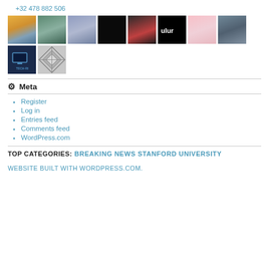+32 478 882 506
[Figure (photo): Grid of thumbnail avatars/profile pictures: castle/sunset scene, person with teal hat, man smiling, dark/black image, couple photo, dark logo with fish, woman face beauty, cloudy sky, tech-ri logo, geometric quilt pattern]
Meta
Register
Log in
Entries feed
Comments feed
WordPress.com
TOP CATEGORIES: BREAKING NEWS STANFORD UNIVERSITY
WEBSITE BUILT WITH WORDPRESS.COM.